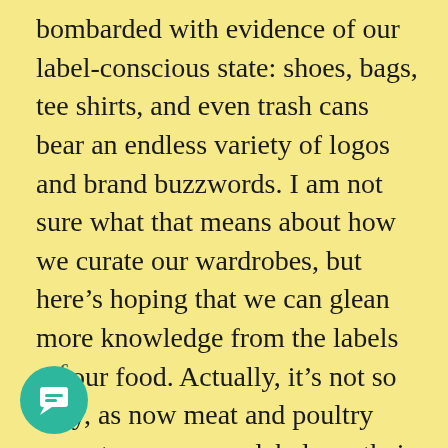bombarded with evidence of our label-conscious state: shoes, bags, tee shirts, and even trash cans bear an endless variety of logos and brand buzzwords. I am not sure what that means about how we curate our wardrobes, but here's hoping that we can glean more knowledge from the labels on our food. Actually, it's not so easy, as now meat and poultry seem to wear more labels on their packages than Nascar drivers on their suits. Meat labels can be very very misleading.
6